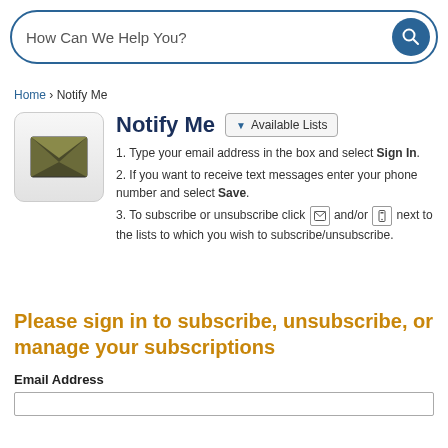[Figure (screenshot): Search bar with text 'How Can We Help You?' and blue magnifying glass button]
Home › Notify Me
[Figure (illustration): Envelope/mail icon in rounded square]
Notify Me
Available Lists
1. Type your email address in the box and select Sign In.
2. If you want to receive text messages enter your phone number and select Save.
3. To subscribe or unsubscribe click [email icon] and/or [phone icon] next to the lists to which you wish to subscribe/unsubscribe.
Please sign in to subscribe, unsubscribe, or manage your subscriptions
Email Address